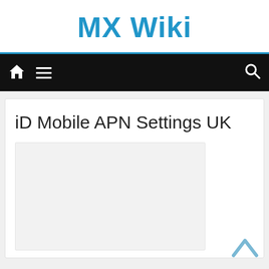MX Wiki
[Figure (screenshot): Navigation bar with home icon, hamburger menu icon, and search icon on black background]
iD Mobile APN Settings UK
[Figure (other): Light grey placeholder image/advertisement area]